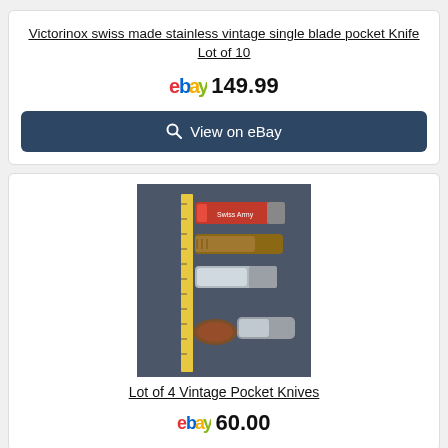Victorinox swiss made stainless vintage single blade pocket Knife Lot of 10
ebay 149.99
View on eBay
[Figure (photo): Photo of multiple vintage pocket knives arranged on a dark blue/gray surface with a yellow ruler on the left side]
Lot of 4 Vintage Pocket Knives
ebay 60.00